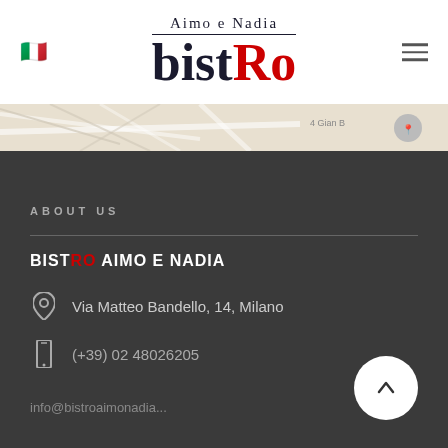[Figure (logo): Aimo e Nadia bistRo logo with Italian flag and hamburger menu]
[Figure (map): Partial street map showing Via Gian area with map pin marker]
ABOUT US
BISTRO AIMO E NADIA
Via Matteo Bandello, 14, Milano
(+39) 02 48026205